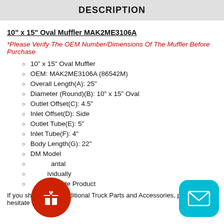DESCRIPTION
10" x 15" Oval Muffler MAK2ME3106A
*Please Verify The OEM Number/Dimensions Of The Muffler Before Purchase
10" x 15" Oval Muffler
OEM: MAK2ME3106A (86542M)
Overall Length(A): 25"
Diameter (Round)(B): 10" x 15" Oval
Outlet Offset(C): 4.5"
Inlet Offset(D): Side
Outlet Tube(E): 5"
Inlet Tube(F): 4"
Body Length(G): 22"
DM Model
Horizontal
Sold Individually
Quality Made Product
If you should need additional Truck Parts and Accessories, please don't hesitate